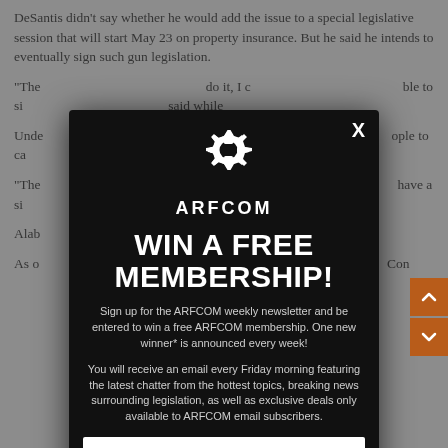DeSantis didn't say whether he would add the issue to a special legislative session that will start May 23 on property insurance. But he said he intends to eventually sign such gun legislation.
"The [partial text obscured] do it, I c[partial text obscured] ble to si[partial text obscured] said whi[partial text obscured]
Unde[partial text obscured] ed wea[partial text obscured] ople to ca[partial text obscured]
"The [partial text obscured] six mon[partial text obscured] have a si[partial text obscured] year.
Alab[partial text obscured] ced for[partial text obscured]
As o[partial text obscured] per[partial text obscured] Con[partial text obscured]
[Figure (other): ARFCOM modal popup overlay with dark background. Contains ARFCOM gear logo, headline 'WIN A FREE MEMBERSHIP!', promotional text about signing up for ARFCOM weekly newsletter, and an email input field. Close button X in top right corner.]